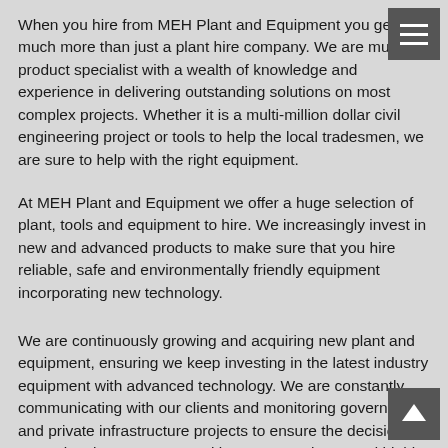When you hire from MEH Plant and Equipment you get much more than just a plant hire company. We are multi-product specialist with a wealth of knowledge and experience in delivering outstanding solutions on most complex projects. Whether it is a multi-million dollar civil engineering project or tools to help the local tradesmen, we are sure to help with the right equipment.
At MEH Plant and Equipment we offer a huge selection of plant, tools and equipment to hire. We increasingly invest in new and advanced products to make sure that you hire reliable, safe and environmentally friendly equipment incorporating new technology.
We are continuously growing and acquiring new plant and equipment, ensuring we keep investing in the latest industry equipment with advanced technology. We are constantly communicating with our clients and monitoring government and private infrastructure projects to ensure the decisions we make about asset aquasitions are consistent and highly diversified.